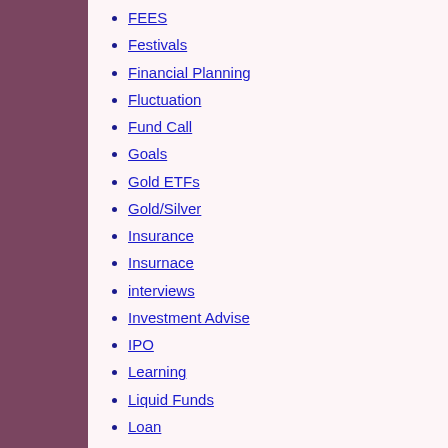FEES
Festivals
Financial Planning
Fluctuation
Fund Call
Goals
Gold ETFs
Gold/Silver
Insurance
Insurnace
interviews
Investment Advise
IPO
Learning
Liquid Funds
Loan
Marriage
MF Lessons
Mutual Fund Advise